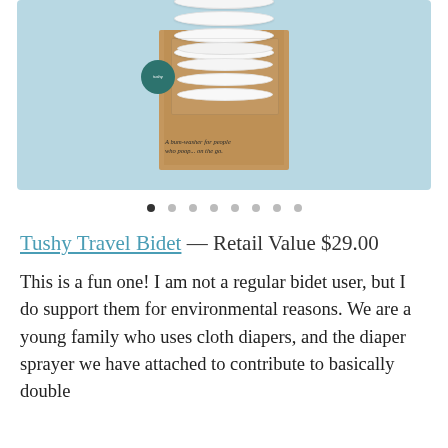[Figure (photo): Product photo of Tushy Travel Bidet in its kraft cardboard box with window cutout showing stacked white plastic discs, on a light blue background. Box reads 'A bum-washer for people who poop... on the go.']
● ○ ○ ○ ○ ○ ○ ○ (slideshow navigation dots, first dot active)
Tushy Travel Bidet — Retail Value $29.00
This is a fun one! I am not a regular bidet user, but I do support them for environmental reasons. We are a young family who uses cloth diapers, and the diaper sprayer we have attached to contribute to basically double...